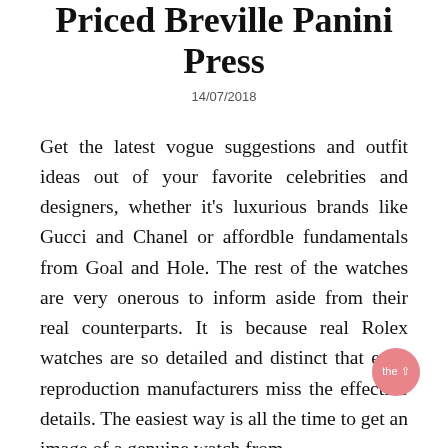Priced Breville Panini Press
14/07/2018
Get the latest vogue suggestions and outfit ideas out of your favorite celebrities and designers, whether it's luxurious brands like Gucci and Chanel or affordble fundamentals from Goal and Hole. The rest of the watches are very onerous to inform aside from their real counterparts. It is because real Rolex watches are so detailed and distinct that even reproduction manufacturers miss the effective details. The easiest way is all the time to get an image of a genuine watch from